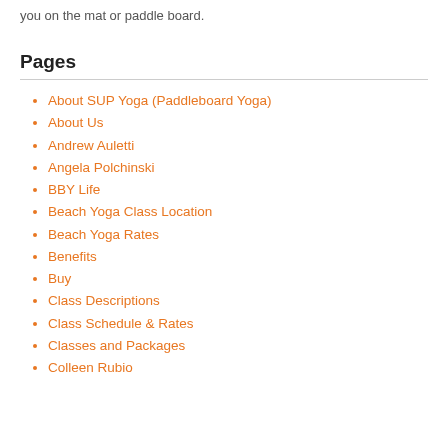you on the mat or paddle board.
Pages
About SUP Yoga (Paddleboard Yoga)
About Us
Andrew Auletti
Angela Polchinski
BBY Life
Beach Yoga Class Location
Beach Yoga Rates
Benefits
Buy
Class Descriptions
Class Schedule & Rates
Classes and Packages
Colleen Rubio